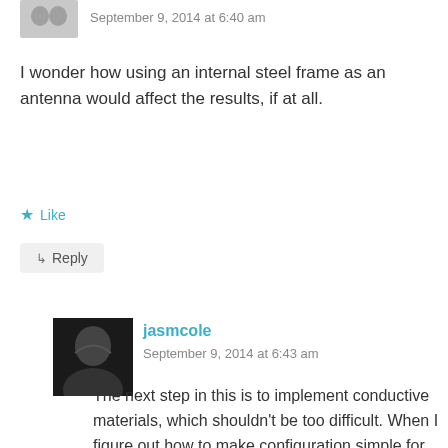September 9, 2014 at 6:40 am
I wonder how using an internal steel frame as an antenna would affect the results, if at all.
Like
Reply
jasmcole
September 9, 2014 at 6:43 am
The next step in this is to implement conductive materials, which shouldn't be too difficult. When I figure out how to make configuration simple for the user it'll be easy to include in the app.